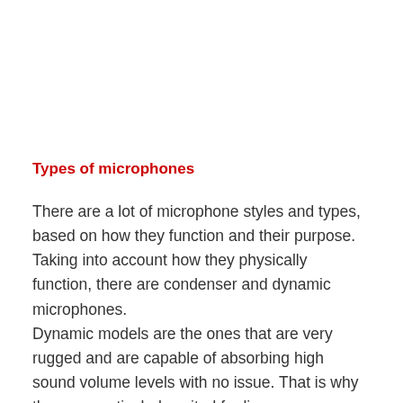Types of microphones
There are a lot of microphone styles and types, based on how they function and their purpose. Taking into account how they physically function, there are condenser and dynamic microphones.
Dynamic models are the ones that are very rugged and are capable of absorbing high sound volume levels with no issue. That is why they are particularly suited for live